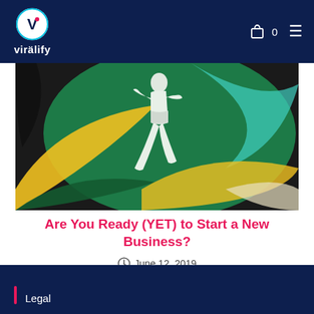viralify — navigation header with logo, cart icon, count 0, and hamburger menu
[Figure (illustration): Colorful graphic illustration of a person in white outfit jumping/running against swirling green, yellow, teal, and black abstract background]
Are You Ready (YET) to Start a New Business?
June 12, 2019
Legal